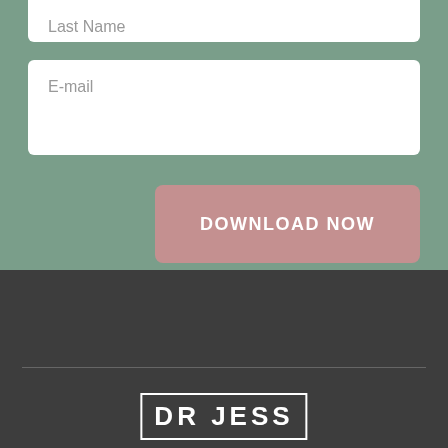Last Name
E-mail
DOWNLOAD NOW
[Figure (logo): DR JESS logo in white text inside a rectangular border on dark background]
DR JESS